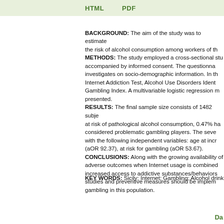HTML    PDF
BACKGROUND: The aim of the study was to estimate the risk of alcohol consumption among workers of th METHODS: The study employed a cross-sectional stu accompanied by informed consent. The questionna investigates on socio-demographic information. In th Internet Addiction Test, Alcohol Use Disorders Ident Gambling Index. A multivariable logistic regression m presented. RESULTS: The final sample size consists of 1482 subje at risk of pathological alcohol consumption, 0.47% ha considered problematic gambling players. The seve with the following independent variables: age at incr (aOR 92.37), at risk for gambling (aOR 53.67). CONCLUSIONS: Along with the growing availability of adverse outcomes when Internet usage is combined increased access to addictive substances/behaviors studies and preventive measures should be implem gambling in this population.
KEY WORDS: Sicily; Internet; Gambling; Alcohol drink
Da